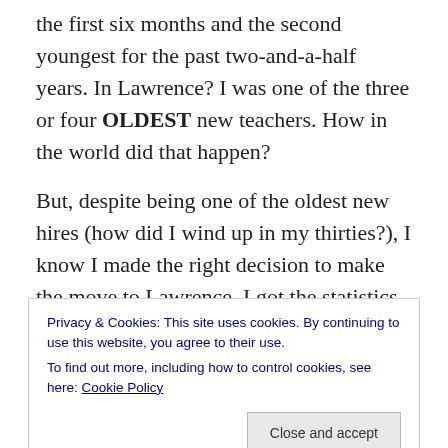the first six months and the second youngest for the past two-and-a-half years. In Lawrence? I was one of the three or four OLDEST new teachers. How in the world did that happen?
But, despite being one of the oldest new hires (how did I wind up in my thirties?), I know I made the right decision to make the move to Lawrence. I got the statistics about the town during a presentation today (90.4% of the students are on free and reduced lunch, over 30% of them live below the poverty line, and 62.3% of them are from single-
Privacy & Cookies: This site uses cookies. By continuing to use this website, you agree to their use. To find out more, including how to control cookies, see here: Cookie Policy
My classroom is amazing. I think I'm still in awe at the size